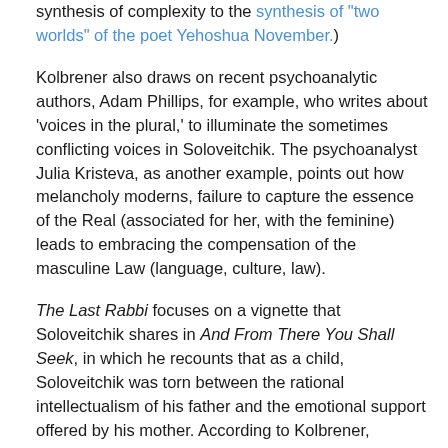synthesis of complexity to the synthesis of 'two worlds' of the poet Yehoshua November.)
Kolbrener also draws on recent psychoanalytic authors, Adam Phillips, for example, who writes about 'voices in the plural,' to illuminate the sometimes conflicting voices in Soloveitchik. The psychoanalyst Julia Kristeva, as another example, points out how melancholy moderns, failure to capture the essence of the Real (associated for her, with the feminine) leads to embracing the compensation of the masculine Law (language, culture, law).
The Last Rabbi focuses on a vignette that Soloveitchik shares in And From There You Shall Seek, in which he recounts that as a child, Soloveitchik was torn between the rational intellectualism of his father and the emotional support offered by his mother. According to Kolbrener,